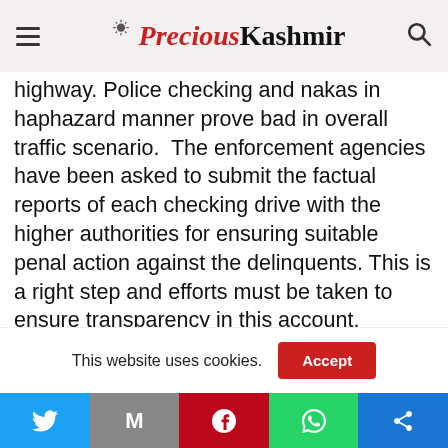Precious Kashmir
highway. Police checking and nakas in haphazard manner prove bad in overall traffic scenario. The enforcement agencies have been asked to submit the factual reports of each checking drive with the higher authorities for ensuring suitable penal action against the delinquents. This is a right step and efforts must be taken to ensure transparency in this account. Previously also, the chief secretary has rightly ordered the wearing of body cameras by the concerned officials, besides ensuring installation of traffic cameras on all traffic
This website uses cookies.
Twitter | Gmail | Pinterest | WhatsApp | Share